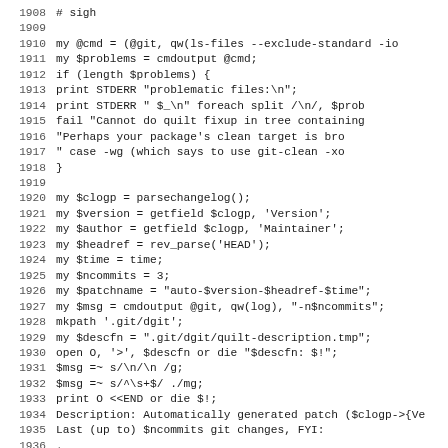Source code listing, lines 1908-1939, Perl code for quilt fixup and patch generation